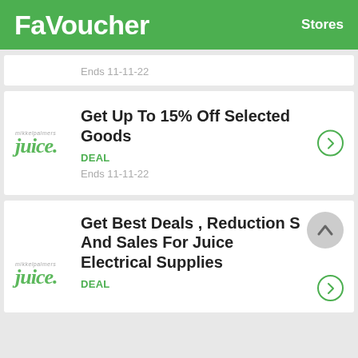FaVoucher   Stores
Ends 11-11-22
Get Up To 15% Off Selected Goods
DEAL
Ends 11-11-22
Get Best Deals , Reduction S And Sales For Juice Electrical Supplies
DEAL